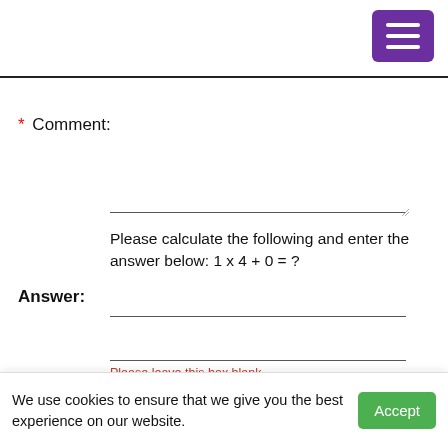* Comment:
Please calculate the following and enter the answer below: 1 x 4 + 0 = ?
Answer:
Please leave this box blank.
We use cookies to ensure that we give you the best experience on our website.